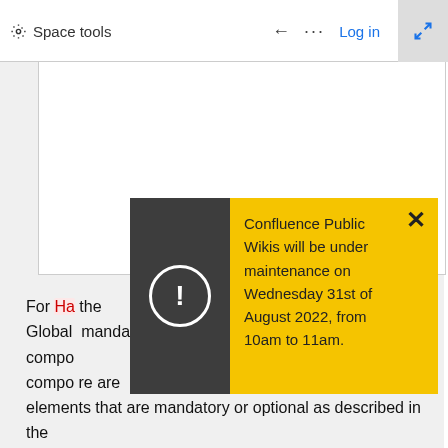Space tools   ← ··· Log in
[Figure (screenshot): White content panel area, blank]
[Figure (infographic): Warning popup with dark grey icon panel showing exclamation circle and yellow body panel with close button. Text: Confluence Public Wikis will be under maintenance on Wednesday 31st of August 2022, from 10am to 11am.]
For Ha... the Global ... mandatory compo... compo... are elements that are mandatory or optional as described in the table below: